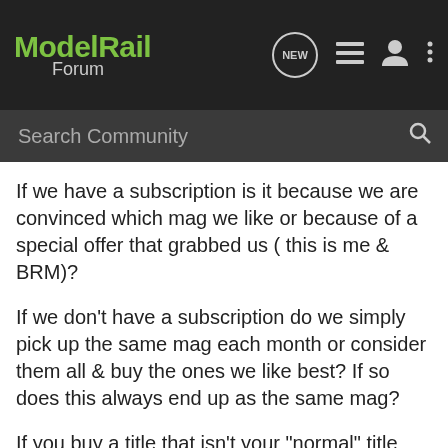ModelRail Forum
If we have a subscription is it because we are convinced which mag we like or because of a special offer that grabbed us ( this is me & BRM)?
If we don't have a subscription do we simply pick up the same mag each month or consider them all & buy the ones we like best? If so does this always end up as the same mag?
If you buy a title that isn't your "normal" title what made you buy it?
To answer my own question I often find that any magazine has little to interest me as I model fairly modern image & in the garden. I flick through the mags & consider those that have articles on my topics. It is often a very few.